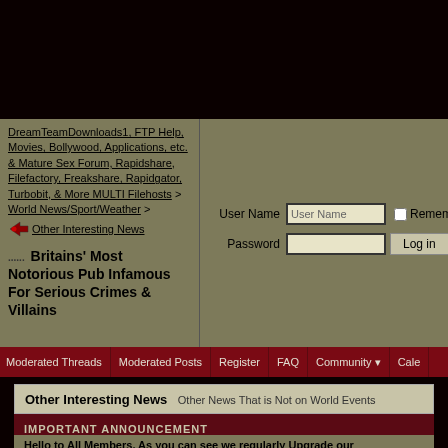DreamTeamDownloads1, FTP Help, Movies, Bollywood, Applications, etc. & Mature Sex Forum, Rapidshare, Filefactory, Freakshare, Rapidgator, Turbobit, & More MULTI Filehosts > World News/Sport/Weather > Other Interesting News
Britains' Most Notorious Pub Infamous For Serious Crimes & Villains
[Figure (screenshot): Login form with User Name and Password fields, Remember Me checkbox, and Log in button]
Moderated Threads | Moderated Posts | Register | FAQ | Community | Cale
Other Interesting News — Other News That is Not on World Events
IMPORTANT ANNOUNCEMENT
Hello to All Members, As you can see we regularly Upgrade our